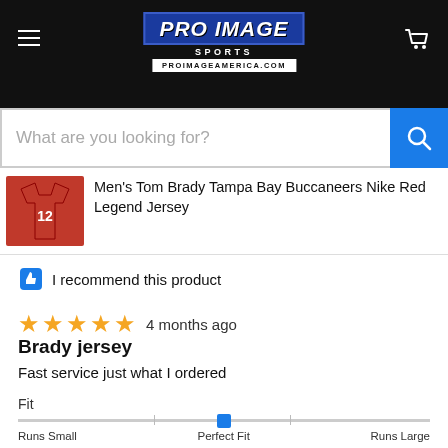[Figure (logo): Pro Image Sports logo with blue background and white text, PROIMAGEAMERICA.COM URL below]
[Figure (screenshot): Search bar with placeholder 'What are you looking for?' and blue search button]
[Figure (photo): Men's Tom Brady Tampa Bay Buccaneers #12 red Nike jersey product thumbnail]
Men's Tom Brady Tampa Bay Buccaneers Nike Red Legend Jersey
👍 I recommend this product
★★★★★  4 months ago
Brady jersey
Fast service just what I ordered
Fit
Runs Small   Perfect Fit   Runs Large